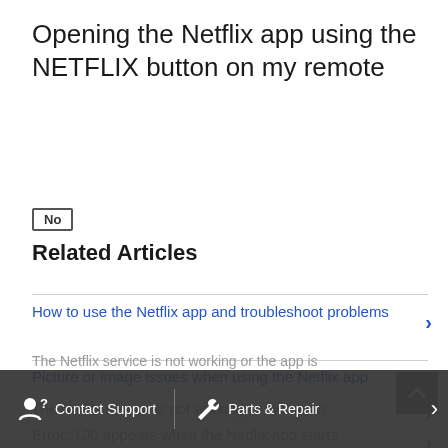Opening the Netflix app using the NETFLIX button on my remote
No
Related Articles
How to use the Netflix app and troubleshoot problems
Picture or image issues when using the Netflix app
Error: 100 appears when the Netflix app starts
The Netflix service is not working or the app is
Contact Support   Parts & Repair